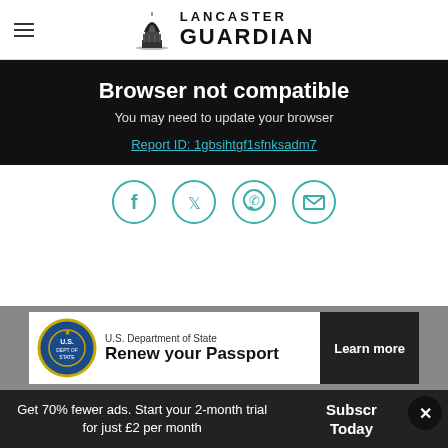Lancaster Guardian
Browser not compatible
You may need to update your browser
Report ID: 1gbsihtgf1sfnksadm7
[Figure (infographic): Social sharing icons: Facebook, Twitter, WhatsApp, Email — teal circle outlines]
[Figure (infographic): Advertisement banner: U.S. Department of State seal, text 'Renew your Passport', Learn more button]
Get 70% fewer ads. Start your 2-month trial for just £2 per month
Subscribe Today